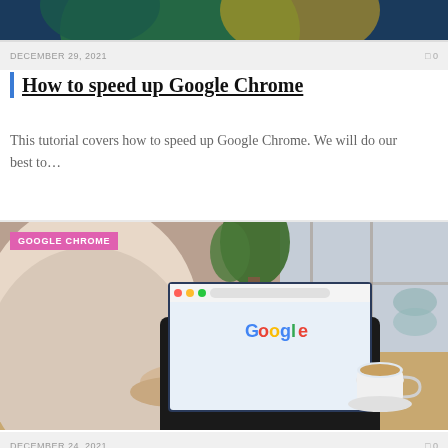[Figure (photo): Cropped top portion of a decorative/header image with dark teal and yellow-green color scheme]
DECEMBER 29, 2021   0
How to speed up Google Chrome
This tutorial covers how to speed up Google Chrome. We will do our best to…
[Figure (photo): Person sitting at a wooden desk using a MacBook laptop showing the Google Chrome browser homepage, with a coffee cup and plant in background]
GOOGLE CHROME
DECEMBER 24, 2021   0